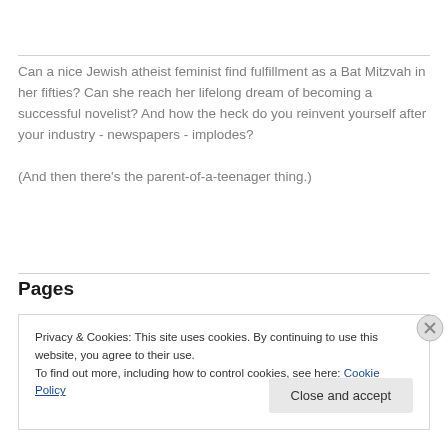Can a nice Jewish atheist feminist find fulfillment as a Bat Mitzvah in her fifties? Can she reach her lifelong dream of becoming a successful novelist? And how the heck do you reinvent yourself after your industry - newspapers - implodes?

(And then there's the parent-of-a-teenager thing.)
Pages
Privacy & Cookies: This site uses cookies. By continuing to use this website, you agree to their use.
To find out more, including how to control cookies, see here: Cookie Policy